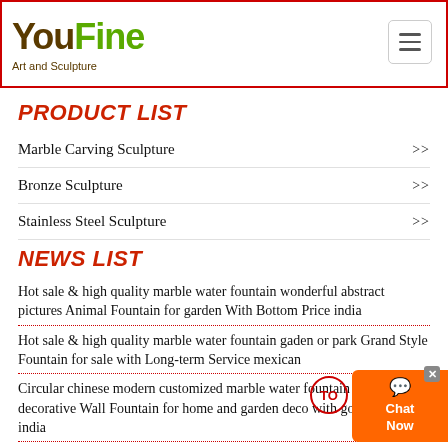YouFine Art and Sculpture
PRODUCT LIST
Marble Carving Sculpture >>
Bronze Sculpture >>
Stainless Steel Sculpture >>
NEWS LIST
Hot sale & high quality marble water fountain wonderful abstract pictures Animal Fountain for garden With Bottom Price india
Hot sale & high quality marble water fountain gaden or park Grand Style Fountain for sale with Long-term Service mexican
Circular chinese modern customized marble water fountain outdoor decorative Wall Fountain for home and garden deco with good price india
Hot sale & high quality marble water fountain installing s fountain for nozzle fountains with high quality india
Wonderful modern marble water fountain installing Statuary Fountain for garden with high quality Saudi Arabia